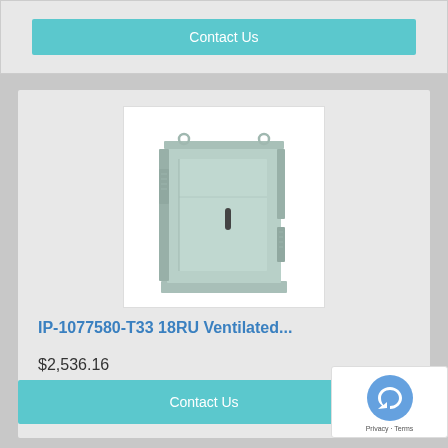Contact Us
[Figure (photo): Light grey outdoor ventilated server cabinet/enclosure (IP-1077580-T33 18RU) standing upright with single door, locking handle, side panels, and mounting rings on top. Light sage-green/grey powder-coated steel construction.]
IP-1077580-T33 18RU Ventilated...
$2,536.16
Contact Us